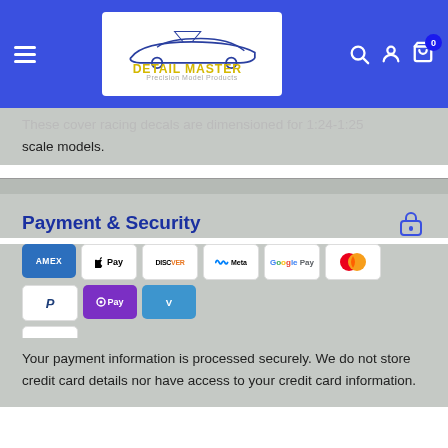Detail Master — Precision Model Products
These cover racing decals are dimensioned for 1:24-1:25 scale models.
Payment & Security
[Figure (infographic): Payment method logos: American Express, Apple Pay, Discover, Meta Pay, Google Pay, Mastercard, PayPal, O Pay, Venmo, Visa]
Your payment information is processed securely. We do not store credit card details nor have access to your credit card information.